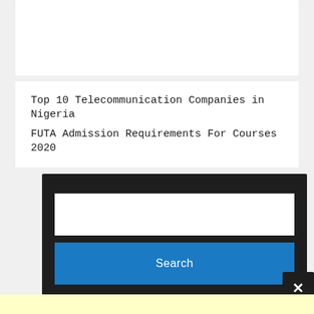[Figure (screenshot): White card area at top of page, partially visible]
Top 10 Telecommunication Companies in Nigeria
FUTA Admission Requirements For Courses 2020
[Figure (screenshot): Dark search widget with white text input box and blue Search button]
[Figure (screenshot): Close/X button in dark background at bottom right of search overlay]
[Figure (screenshot): Light yellow bar at bottom of page]